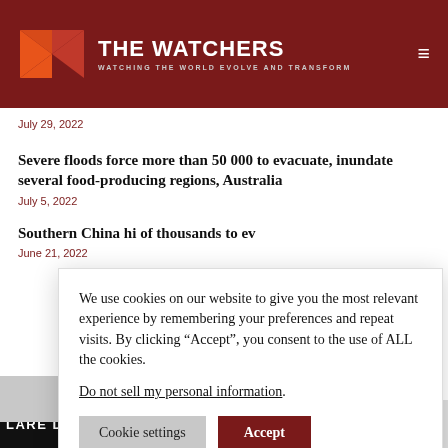[Figure (logo): The Watchers website logo with red/orange geometric icon and white text on dark red header]
July 29, 2022
Severe floods force more than 50 000 to evacuate, inundate several food-producing regions, Australia
July 5, 2022
Southern China hi[t by severe floods, forcing tens] of thousands to ev[acuate]
June 21, 2022
We use cookies on our website to give you the most relevant experience by remembering your preferences and repeat visits. By clicking “Accept”, you consent to the use of ALL the cookies.
Do not sell my personal information.
Cookie settings  Accept
LARE DETECTED ON MONDAY, SEPTEMBER 5, 2022 AT 18:05 U